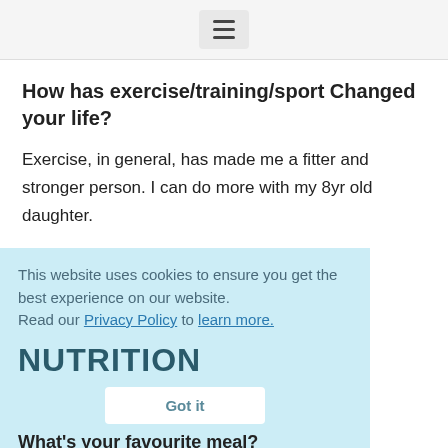Menu (hamburger icon)
How has exercise/training/sport Changed your life?
Exercise, in general, has made me a fitter and stronger person. I can do more with my 8yr old daughter.
This website uses cookies to ensure you get the best experience on our website. Read our Privacy Policy to learn more. Got it
NUTRITION
What's your favourite meal?
A bowl of...